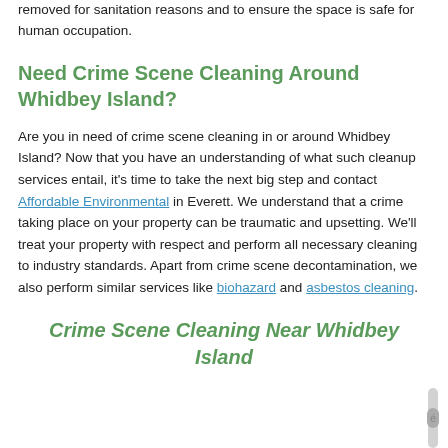removed for sanitation reasons and to ensure the space is safe for human occupation.
Need Crime Scene Cleaning Around Whidbey Island?
Are you in need of crime scene cleaning in or around Whidbey Island? Now that you have an understanding of what such cleanup services entail, it's time to take the next big step and contact Affordable Environmental in Everett. We understand that a crime taking place on your property can be traumatic and upsetting. We'll treat your property with respect and perform all necessary cleaning to industry standards. Apart from crime scene decontamination, we also perform similar services like biohazard and asbestos cleaning.
Crime Scene Cleaning Near Whidbey Island